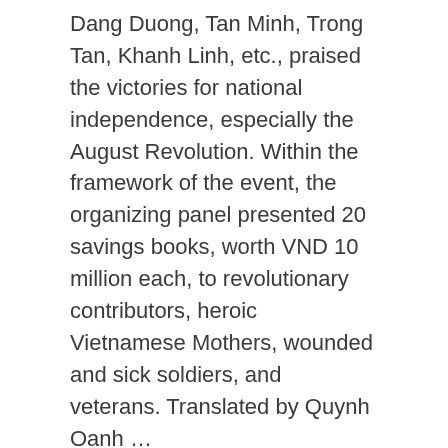Dang Duong, Tan Minh, Trong Tan, Khanh Linh, etc., praised the victories for national independence, especially the August Revolution. Within the framework of the event, the organizing panel presented 20 savings books, worth VND 10 million each, to revolutionary contributors, heroic Vietnamese Mothers, wounded and sick soldiers, and veterans. Translated by Quynh Oanh …
[Read more...]
Filed Under: Uncategorized
uae celebrates national day 2017, celebration uae national day, national day celebration where, why does uae celebrate national day, celebrated national days,